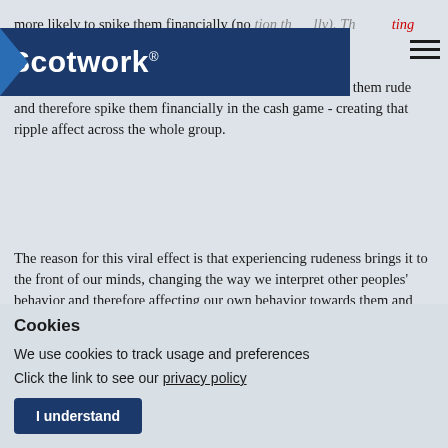more likely to spike them financially (no tion th lly). Th ting part is th ted the sa exercise with student C, student C would more likely find them rude and therefore spike them financially in the cash game - creating that ripple affect across the whole group.
[Figure (logo): Scotwork logo — white bold text on dark blue banner with arrow shape on left]
The reason for this viral effect is that experiencing rudeness brings it to the front of our minds, changing the way we interpret other peoples' behavior and therefore affecting our own behavior towards them and other people.
The viral effect is especially strong in ambiguous situations where someone's behavior can be interpreted both ways.  People
Cookies
We use cookies to track usage and preferences
Click the link to see our privacy policy